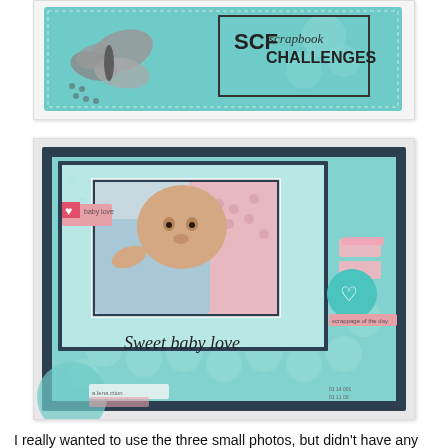[Figure (photo): SCF Scrapbook Challenges banner with butterfly and teal/mint background with dandelion motif]
[Figure (photo): Scrapbook layout page titled 'Sweet baby love' featuring a newborn baby photo on a mint/teal patterned background with decorative elements including a heart tag, labels, and pink accents, mounted on dark navy mat]
I really wanted to use the three small photos, but didn't have any handy, so I decided to do a one photo layout this time around. My layout is checked in as a scrapbook layout, but I used